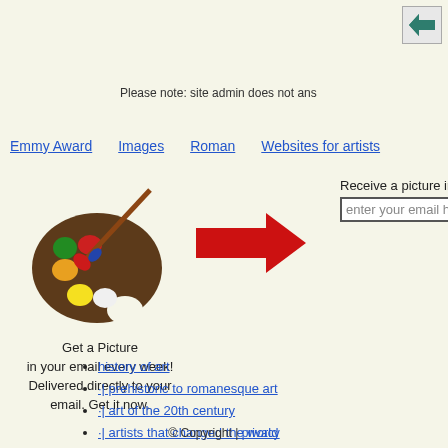[Figure (screenshot): Back navigation button with green left arrow icon in top-right corner]
Please note: site admin does not ans
Emmy Award   Images   Roman   Websites for artists
[Figure (illustration): Artist palette with paint brush, paint colors including green, yellow, red, and blue]
Get a Picture in your email every week! Delivered directly to your email. Get it now.
[Figure (illustration): Large red arrow pointing right]
Receive a picture in your email weekly!
enter your email here! [Submit]
history of art
·| prehistoric to romanesque art
·| art of the 20th century
·| artists that changed the world
·| architecture & sculpture
·| photography
·| classical music
© Copyright | privacy